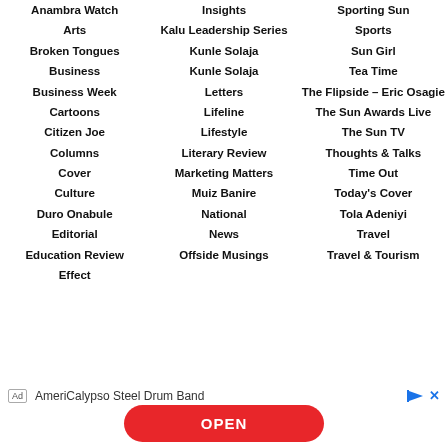Anambra Watch
Arts
Broken Tongues
Business
Business Week
Cartoons
Citizen Joe
Columns
Cover
Culture
Duro Onabule
Editorial
Education Review
Effect
Insights
Kalu Leadership Series
Kunle Solaja
Kunle Solaja
Letters
Lifeline
Lifestyle
Literary Review
Marketing Matters
Muiz Banire
National
News
Offside Musings
Sporting Sun
Sports
Sun Girl
Tea Time
The Flipside – Eric Osagie
The Sun Awards Live
The Sun TV
Thoughts & Talks
Time Out
Today's Cover
Tola Adeniyi
Travel
Travel & Tourism